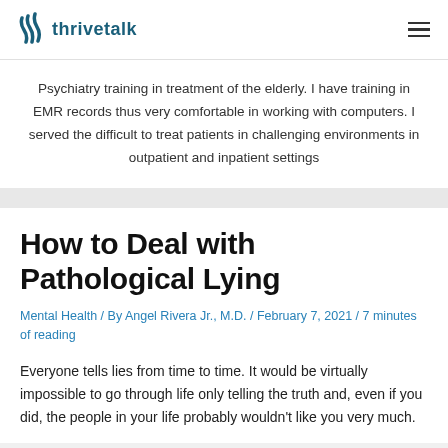thrivetalk
Psychiatry training in treatment of the elderly. I have training in EMR records thus very comfortable in working with computers. I served the difficult to treat patients in challenging environments in outpatient and inpatient settings
How to Deal with Pathological Lying
Mental Health / By Angel Rivera Jr., M.D. / February 7, 2021 / 7 minutes of reading
Everyone tells lies from time to time. It would be virtually impossible to go through life only telling the truth and, even if you did, the people in your life probably wouldn't like you very much.